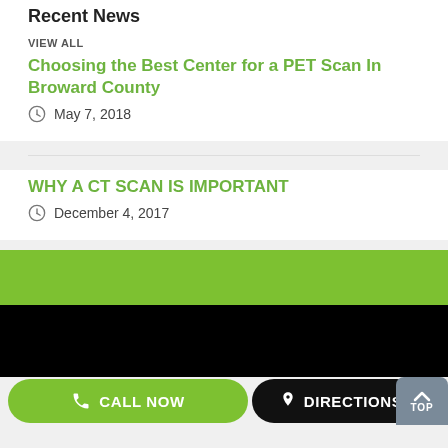Recent News
VIEW ALL
Choosing the Best Center for a PET Scan In Broward County
May 7, 2018
WHY A CT SCAN IS IMPORTANT
December 4, 2017